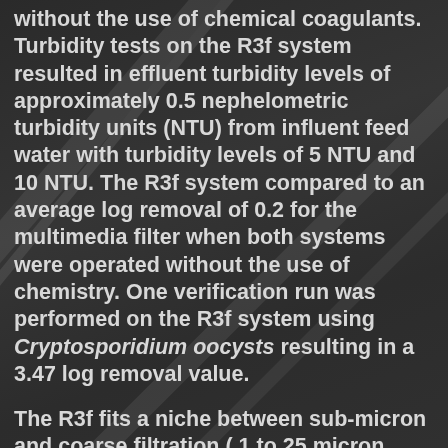without the use of chemical coagulants. Turbidity tests on the R3f system resulted in effluent turbidity levels of approximately 0.5 nephelometric turbidity units (NTU) from influent feed water with turbidity levels of 5 NTU and 10 NTU. The R3f system compared to an average log removal of 0.2 for the multimedia filter when both systems were operated without the use of chemistry. One verification run was performed on the R3f system using Cryptosporidium oocysts resulting in a 3.47 log removal value.
The R3f fits a niche between sub-micron and coarse filtration ( 1 to 25 micron particle size range ), where filtration can be provided without the use of coagulants for particle pretreatment and destabilization. This operationally simplistic filtration technology is suitable